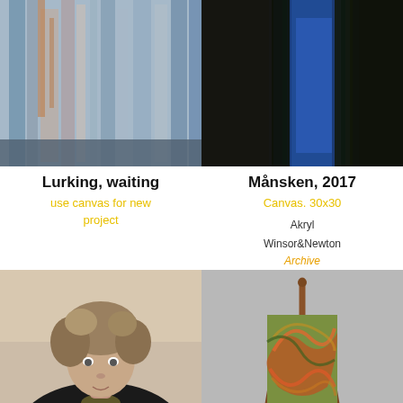[Figure (photo): Abstract painting with vertical streaks of blue, grey, orange and white tones - Lurking waiting artwork]
Lurking, waiting
use canvas for new project
[Figure (photo): Dark landscape painting with blue sky and dark trees - Månsken 2017 artwork]
Månsken, 2017
Canvas. 30x30
Akryl
Winsor&Newton
Archive
[Figure (photo): Portrait painting of a person with curly hair wearing dark clothing]
[Figure (photo): Small colorful painting on a wooden easel with orange, green and red swirling patterns]